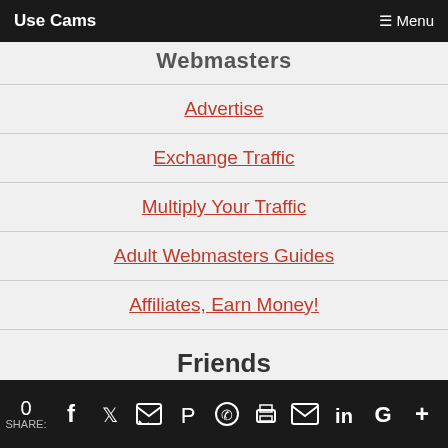Use Cams  ☰ Menu
Webmasters
Advertise
Exchange Traffic
Multiply Your Traffic
Adult Webmasters Guides
Affiliates, Earn Money!
Friends
Best Sex Sites
0 SHARE: (social share icons)